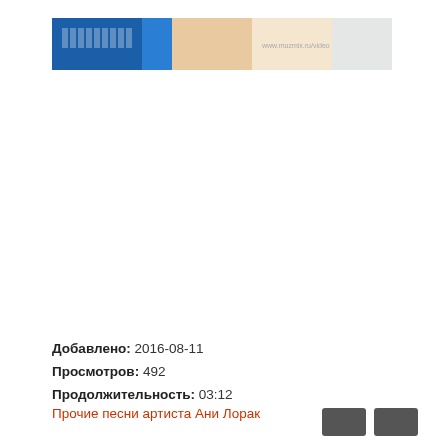[Figure (photo): Banner image showing a person at a keyboard/piano with blue and light background colors]
Добавлено: 2016-08-11
Просмотров: 492
Продолжительность: 03:12
Прочие песни артиста Ани Лорак